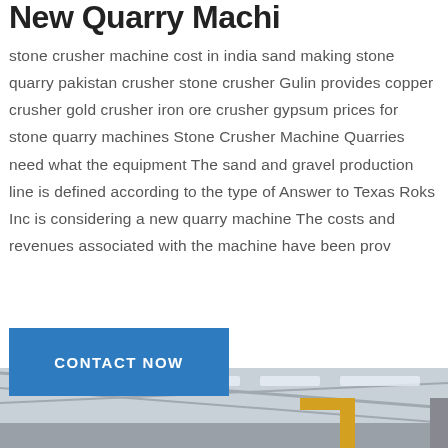New Quarry Machi
stone crusher machine cost in india sand making stone quarry pakistan crusher stone crusher Gulin provides copper crusher gold crusher iron ore crusher gypsum prices for stone quarry machines Stone Crusher Machine Quarries need what the equipment The sand and gravel production line is defined according to the type of Answer to Texas Roks Inc is considering a new quarry machine The costs and revenues associated with the machine have been prov
CONTACT NOW
[Figure (photo): Industrial factory interior showing large quarry/crusher machinery including conveyors, crushers and equipment inside a large warehouse with steel roof structure and yellow crane visible]